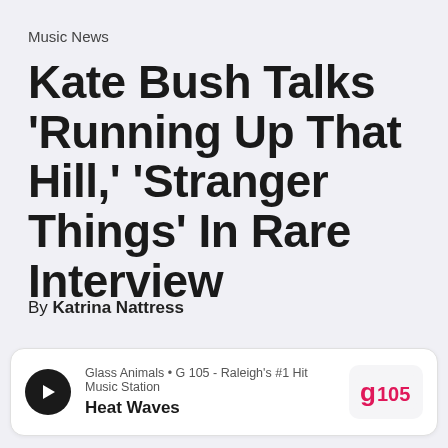Music News
Kate Bush Talks 'Running Up That Hill,' 'Stranger Things' In Rare Interview
By Katrina Nattress
[Figure (other): Audio player card showing: Glass Animals • G 105 - Raleigh's #1 Hit Music Station, track: Heat Waves, with play button and G105 station logo]